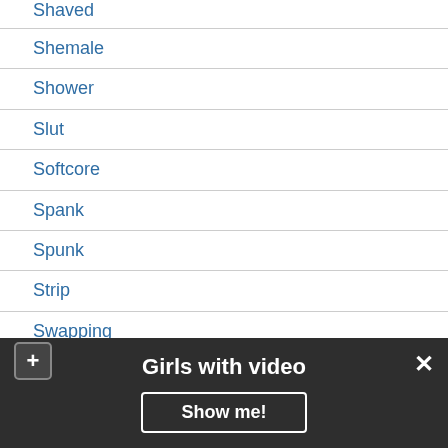Shaved
Shemale
Shower
Slut
Softcore
Spank
Spunk
Strip
Swapping
Swinger
Teen
Threesome
Twink
Upskirt
Girls with video
Show me!